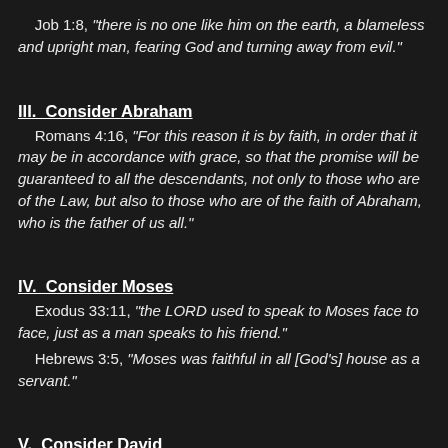Job 1:8, "there is no one like him on the earth, a blameless and upright man, fearing God and turning away from evil."
III. Consider Abraham
Romans 4:16, "For this reason it is by faith, in order that it may be in accordance with grace, so that the promise will be guaranteed to all the descendants, not only to those who are of the Law, but also to those who are of the faith of Abraham, who is the father of us all."
IV. Consider Moses
Exodus 33:11, "the LORD used to speak to Moses face to face, just as a man speaks to his friend."
Hebrews 3:5, "Moses was faithful in all [God's] house as a servant."
V. Consider David
Acts 13:22, "He is A MAN AFTER MY HEART, who will